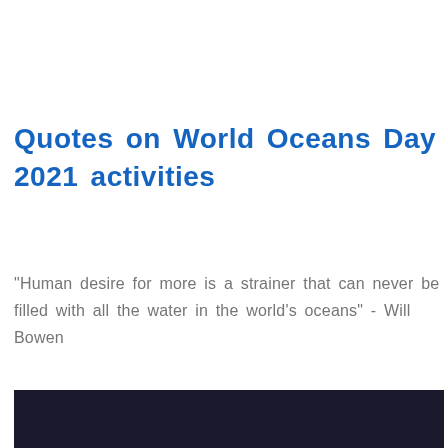Quotes on World Oceans Day 2021 activities
"Human desire for more is a strainer that can never be filled with all the water in the world's oceans" - Will Bowen
[Figure (photo): Dark photograph at the bottom of the page, partially visible]